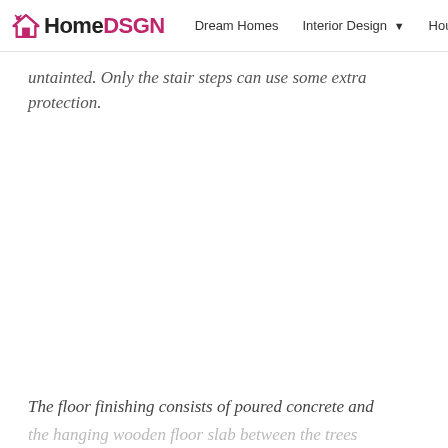HomeDSGN | Dream Homes | Interior Design | Hou…
untainted. Only the stair steps can use some extra protection.
The floor finishing consists of poured concrete and the hanging wooden floor slab between the trees